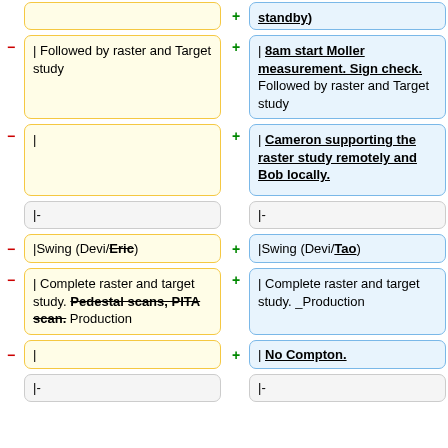| standby)
| Followed by raster and Target study
+ | 8am start Moller measurement. Sign check. Followed by raster and Target study
| (empty)
+ | Cameron supporting the raster study remotely and Bob locally.
|-
|-
- |Swing (Devi/Eric)
+ |Swing (Devi/Tao)
- | Complete raster and target study. Pedestal scans, PITA scan. Production
+ | Complete raster and target study. _Production
- |
+ | No Compton.
|-
|-